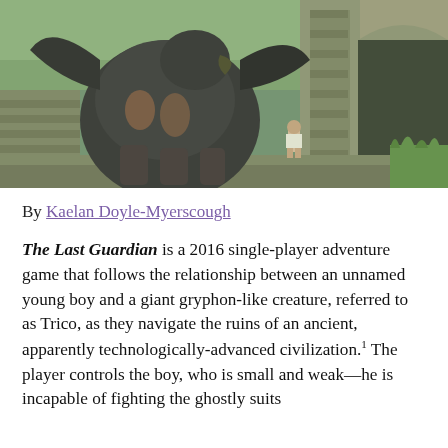[Figure (screenshot): Screenshot from The Last Guardian video game showing a giant gryphon-like creature (Trico) standing on stone ruins next to a small boy, with ancient stone architecture and greenery in the background.]
By Kaelan Doyle-Myerscough
The Last Guardian is a 2016 single-player adventure game that follows the relationship between an unnamed young boy and a giant gryphon-like creature, referred to as Trico, as they navigate the ruins of an ancient, apparently technologically-advanced civilization.1 The player controls the boy, who is small and weak—he is incapable of fighting the ghostly suits